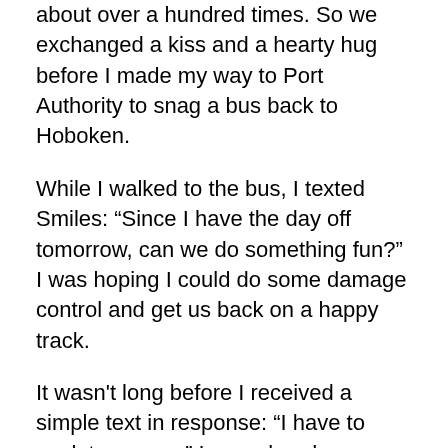about over a hundred times. So we exchanged a kiss and a hearty hug before I made my way to Port Authority to snag a bus back to Hoboken.
While I walked to the bus, I texted Smiles: “Since I have the day off tomorrow, can we do something fun?” I was hoping I could do some damage control and get us back on a happy track.
It wasn't long before I received a simple text in response: “I have to work tomorrow.” I was already picturing a Monday afternoon with me sinking deep into the couch by myself in front of the TV. I was very disappointed, but it's not like I had anything to say. I was the one who royally messed up here. I was going to have to deal with the consequences.
Later that evening, I talked to Boston on Facebook. I told